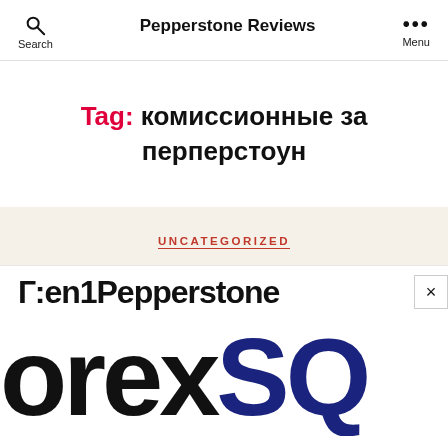Pepperstone Reviews
Tag: комиссионные за перперстоун
UNCATEGORIZED
Г:en1Pepperstone
[Figure (logo): Large partial logo text showing 'orex' in black and 'SQ' in dark blue, cropped]